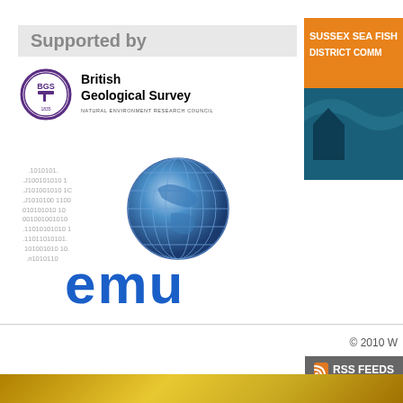Supported by
[Figure (logo): British Geological Survey logo with BGS circular emblem and Natural Environment Research Council text]
[Figure (logo): Sussex Sea Fish District Committee banner with orange header and teal wave graphic]
[Figure (logo): EMU logo with globe and binary code graphic and blue EMU text]
© 2010 W
RSS FEEDS